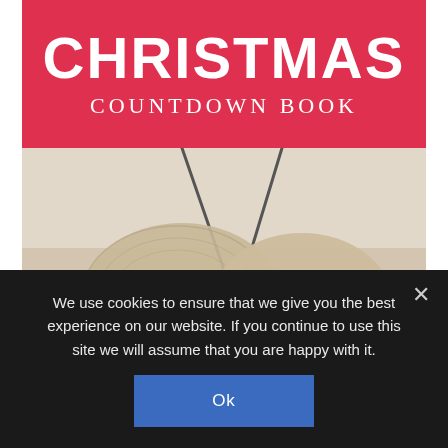CHRISTMAS COUNTDOWN BOOK
[Figure (photo): Sepia-toned photo of hands knitting with knitting needles and yarn, close-up view showing detailed knit stitches and needles crossing]
We use cookies to ensure that we give you the best experience on our website. If you continue to use this site we will assume that you are happy with it.